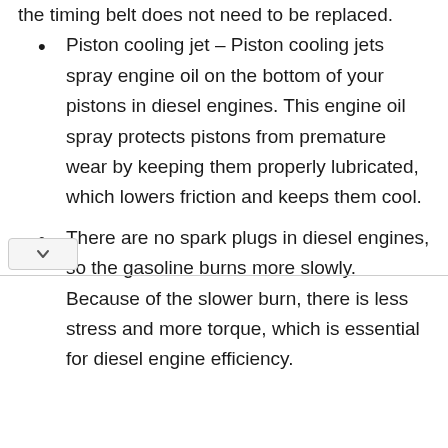Piston cooling jet – Piston cooling jets spray engine oil on the bottom of your pistons in diesel engines. This engine oil spray protects pistons from premature wear by keeping them properly lubricated, which lowers friction and keeps them cool.
There are no spark plugs in diesel engines, so the gasoline burns more slowly. Because of the slower burn, there is less stress and more torque, which is essential for diesel engine efficiency.